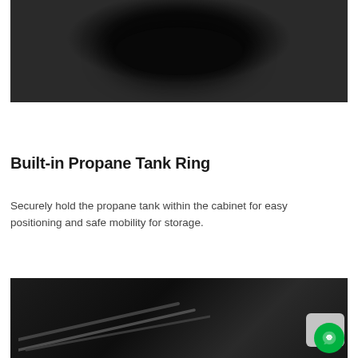[Figure (photo): Dark close-up photo of a circular propane tank ring holder, black background with oval shadow in center]
Built-in Propane Tank Ring
Securely hold the propane tank within the cabinet for easy positioning and safe mobility for storage.
[Figure (photo): Dark close-up photo of grill grates or metal components on a dark background, with a green chat widget in the bottom right corner]